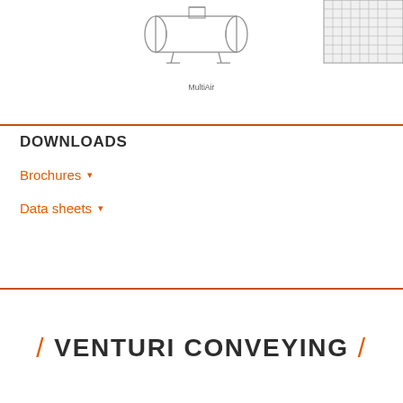[Figure (engineering-diagram): Technical drawing of MultiAir conveying equipment shown from top portion, with caption 'MultiAir']
MultiAir
DOWNLOADS
Brochures ▼
Data sheets ▼
/ VENTURI CONVEYING /